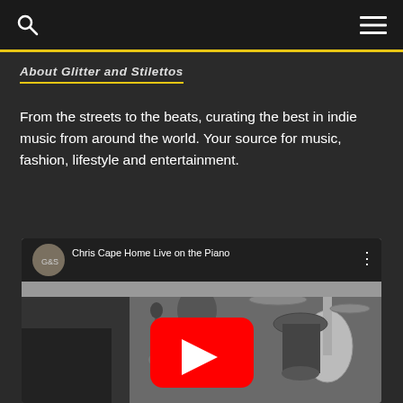About Glitter and Stilettos
From the streets to the beats, curating the best in indie music from around the world. Your source for music, fashion, lifestyle and entertainment.
[Figure (screenshot): YouTube video embed showing 'Chris Cape Home Live on the Piano' with a black and white photo of a person playing piano with drums and guitar visible in background, YouTube play button overlay visible.]